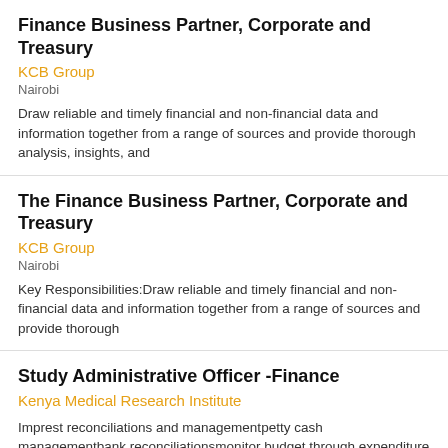Finance Business Partner, Corporate and Treasury
KCB Group
Nairobi
Draw reliable and timely financial and non-financial data and information together from a range of sources and provide thorough analysis, insights, and
The Finance Business Partner, Corporate and Treasury
KCB Group
Nairobi
Key Responsibilities:Draw reliable and timely financial and non-financial data and information together from a range of sources and provide thorough
Study Administrative Officer -Finance
Kenya Medical Research Institute
Imprest reconciliations and managementpetty cash managementbank reconciliationsmonitor budget through expenditure trackingprepare variance
County executive committee member - finance, ICT and economic planning
County Government Of Busia